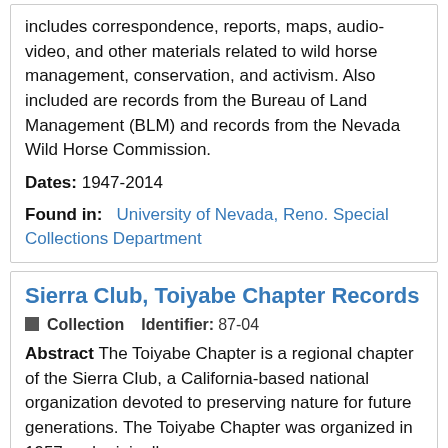includes correspondence, reports, maps, audio-video, and other materials related to wild horse management, conservation, and activism. Also included are records from the Bureau of Land Management (BLM) and records from the Nevada Wild Horse Commission.
Dates: 1947-2014
Found in: University of Nevada, Reno. Special Collections Department
Sierra Club, Toiyabe Chapter Records
Collection   Identifier: 87-04
Abstract The Toiyabe Chapter is a regional chapter of the Sierra Club, a California-based national organization devoted to preserving nature for future generations. The Toiyabe Chapter was organized in 1957 and originally